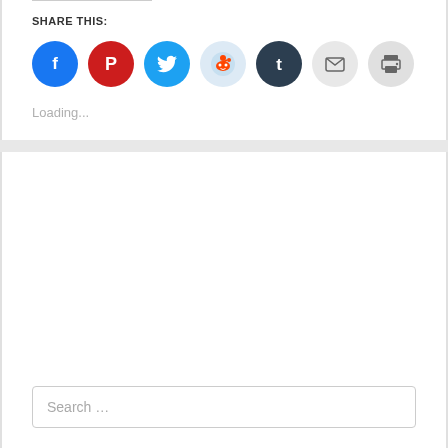SHARE THIS:
[Figure (infographic): Row of seven circular social share buttons: Facebook (blue), Pinterest (red), Twitter (cyan), Reddit (light blue), Tumblr (dark navy), Email (light gray), Print (light gray)]
Loading...
Search ...